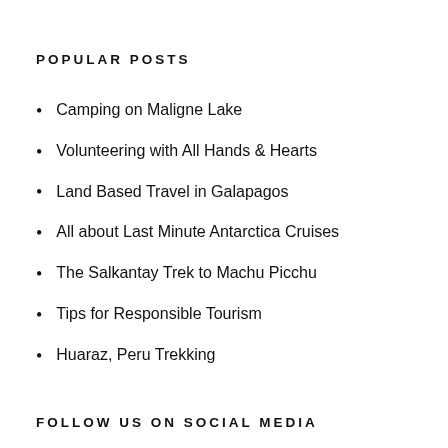POPULAR POSTS
Camping on Maligne Lake
Volunteering with All Hands & Hearts
Land Based Travel in Galapagos
All about Last Minute Antarctica Cruises
The Salkantay Trek to Machu Picchu
Tips for Responsible Tourism
Huaraz, Peru Trekking
FOLLOW US ON SOCIAL MEDIA